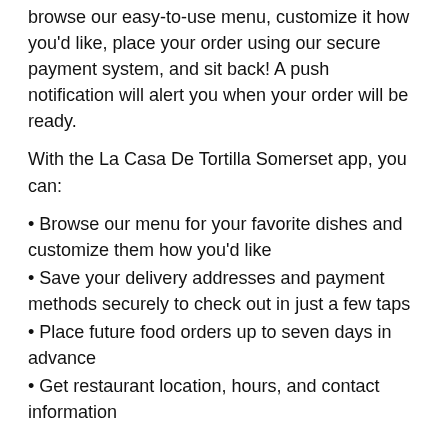browse our easy-to-use menu, customize it how you'd like, place your order using our secure payment system, and sit back! A push notification will alert you when your order will be ready.
With the La Casa De Tortilla Somerset app, you can:
Browse our menu for your favorite dishes and customize them how you'd like
Save your delivery addresses and payment methods securely to check out in just a few taps
Place future food orders up to seven days in advance
Get restaurant location, hours, and contact information
What's New on the Latest Edition Of La Casa De Tortilla Somerset
Our new-and-improved mobile app is here! With our upgraded interface and redesigned menu, ordering is easier and faster than ever. Find what you're craving in just a few taps and...